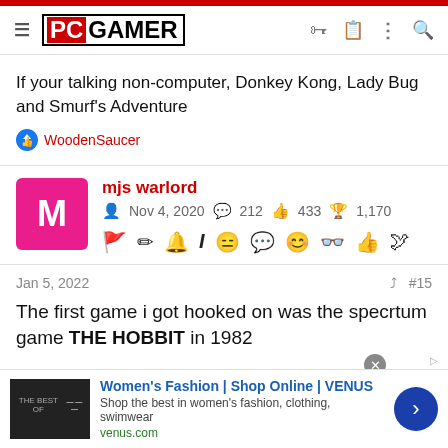PC GAMER
If your talking non-computer, Donkey Kong, Lady Bug and Smurf's Adventure
WoodenSaucer
mjs warlord — Nov 4, 2020 — 212 messages — 433 likes — 1,170 trophies
Jan 5, 2022 — #15
The first game i got hooked on was the specrtum game THE HOBBIT in 1982
Women's Fashion | Shop Online | VENUS — Shop the best in women's fashion, clothing, swimwear — venus.com